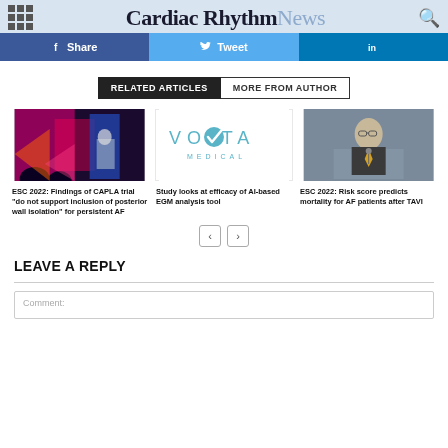Cardiac Rhythm News
[Figure (screenshot): Social sharing bar with Facebook Share, Twitter Tweet, LinkedIn buttons]
RELATED ARTICLES | MORE FROM AUTHOR
[Figure (photo): ESC 2022 conference speaker at podium with colorful backdrop]
ESC 2022: Findings of CAPLA trial "do not support inclusion of posterior wall isolation" for persistent AF
[Figure (logo): Volta Medical logo]
Study looks at efficacy of AI-based EGM analysis tool
[Figure (photo): ESC 2022 speaker at podium, gray background]
ESC 2022: Risk score predicts mortality for AF patients after TAVI
LEAVE A REPLY
Comment: